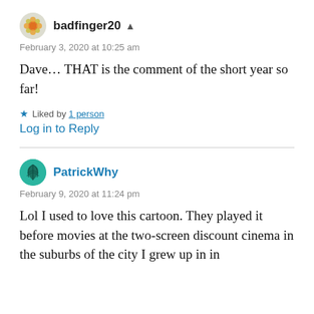badfinger20 ▲
February 3, 2020 at 10:25 am
Dave... THAT is the comment of the short year so far!
★ Liked by 1 person
Log in to Reply
PatrickWhy
February 9, 2020 at 11:24 pm
Lol I used to love this cartoon. They played it before movies at the two-screen discount cinema in the suburbs of the city I grew up in in